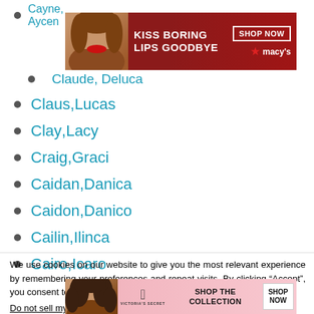Cayne, Aycen
[Figure (photo): Macy's advertisement banner: 'Kiss Boring Lips Goodbye' with woman wearing red lipstick, SHOP NOW button and Macy's star logo]
Claude, Deluca
Claus, Lucas
Clay, Lacy
Craig, Graci
Caidan, Danica
Caidon, Danico
Cailin, Ilinca
Cairo, Icaro
We use cookies on our website to give you the most relevant experience by remembering your preferences and repeat visits. By clicking “Accept”, you consent to the use of ALL the cookies.
Do not sell my personal information.
[Figure (photo): Victoria's Secret advertisement banner: woman with curly hair, VS logo, 'SHOP THE COLLECTION' text, 'SHOP NOW' button, and CLOSE button]